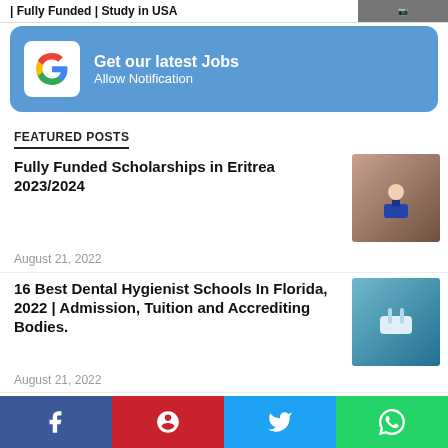| Fully Funded | Study in USA
[Figure (screenshot): Notification bar with Google logo: Get our latest Jobs / Allow Notification]
FEATURED POSTS
Fully Funded Scholarships in Eritrea 2023/2024
August 21, 2022
[Figure (photo): Graduate student in cap and gown holding diploma]
16 Best Dental Hygienist Schools In Florida, 2022 | Admission, Tuition and Accrediting Bodies.
August 21, 2022
[Figure (photo): Dental hygienist at work]
How To Become An IT Technician | What They Do, Salary, Required Skill
[Figure (photo): IT students or technicians in a meeting]
[Figure (infographic): Social share bar: Facebook, Pinterest, Twitter, WhatsApp]